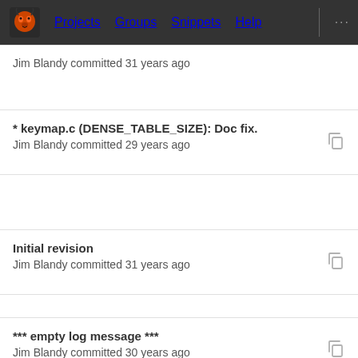Projects  Groups  Snippets  Help
Jim Blandy committed 31 years ago
* keymap.c (DENSE_TABLE_SIZE): Doc fix.
Jim Blandy committed 29 years ago
Initial revision
Jim Blandy committed 31 years ago
*** empty log message ***
Jim Blandy committed 30 years ago
Initial revision
Jim Blandy committed 31 years ago